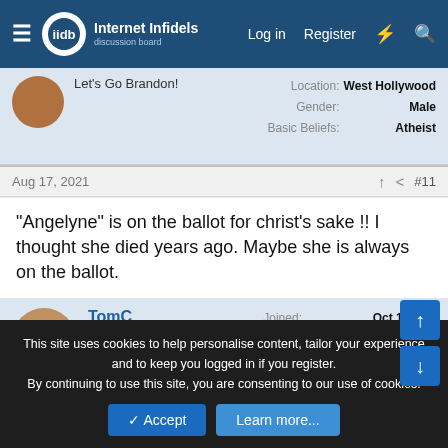Internet Infidels — Log in  Register
Let's Go Brandon!  Location: West Hollywood  Gender: Male  Basic Beliefs: Atheist
Aug 17, 2021  #11
"Angelyne" is on the ballot for christ's sake !! I thought she died years ago. Maybe she is always on the ballot.
TomC  Celestial Highness  Joined: Oct 1, 2020  Messages: 4,671  Location: Midwestern USA  Gender: Faggot  Basic Beliefs: Agnostic deist
Aug 17, 2021  #12
This site uses cookies to help personalise content, tailor your experience and to keep you logged in if you register.
By continuing to use this site, you are consenting to our use of cookies.